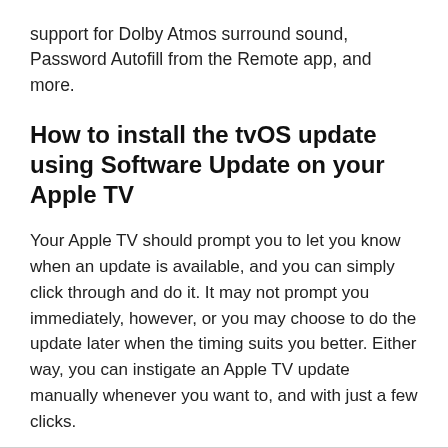support for Dolby Atmos surround sound, Password Autofill from the Remote app, and more.
How to install the tvOS update using Software Update on your Apple TV
Your Apple TV should prompt you to let you know when an update is available, and you can simply click through and do it. It may not prompt you immediately, however, or you may choose to do the update later when the timing suits you better. Either way, you can instigate an Apple TV update manually whenever you want to, and with just a few clicks.
1. Click on the Settings app from your Apple TV Home